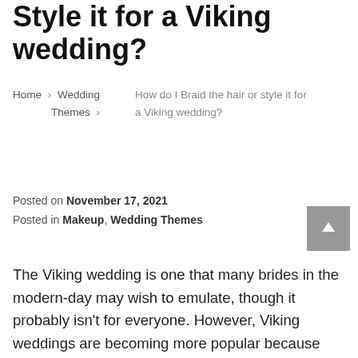Style it for a Viking wedding?
Home › Wedding Themes › How do I Braid the hair or style it for a Viking wedding?
Posted on November 17, 2021
Posted in Makeup, Wedding Themes
The Viking wedding is one that many brides in the modern-day may wish to emulate, though it probably isn't for everyone. However, Viking weddings are becoming more popular because they allow couples to step out of tradition and do